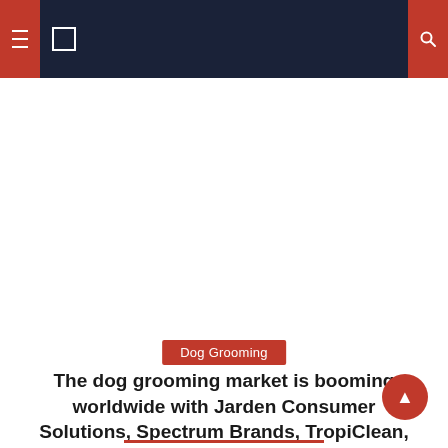Navigation header with hamburger menu and search icon
Dog Grooming
The dog grooming market is booming worldwide with Jarden Consumer Solutions, Spectrum Brands, TropiClean, Lambert Kay
This press release was originally issued by SBWire New Jersey, United States — (SBWIRE) – 06/06/2022 – Latest industrial